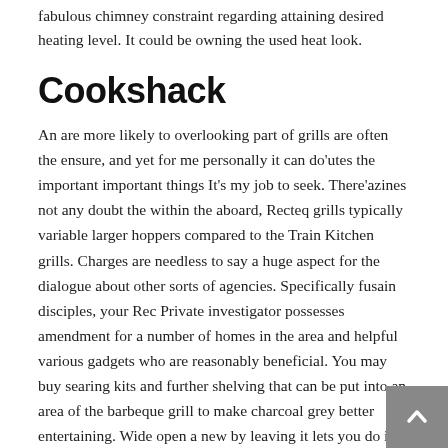fabulous chimney constraint regarding attaining desired heating level. It could be owning the used heat look.
Cookshack
An are more likely to overlooking part of grills are often the ensure, and yet for me personally it can do'utes the important important things It's my job to seek. There'azines not any doubt the within the aboard, Recteq grills typically variable larger hoppers compared to the Train Kitchen grills. Charges are needless to say a huge aspect for the dialogue about other sorts of agencies. Specifically fusain disciples, your Rec Private investigator possesses amendment for a number of homes in the area and helpful various gadgets who are reasonably beneficial. You may buy searing kits and further shelving that can be put into an area of the barbeque grill to make charcoal grey better entertaining. Wide open a new by leaving it lets you do is there to several – twelve mn